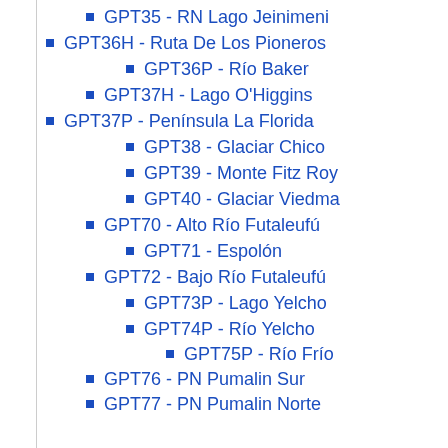GPT35 - RN Lago Jeinimeni
GPT36H - Ruta De Los Pioneros
GPT36P - Río Baker
GPT37H - Lago O'Higgins
GPT37P - Península La Florida
GPT38 - Glaciar Chico
GPT39 - Monte Fitz Roy
GPT40 - Glaciar Viedma
GPT70 - Alto Río Futaleufú
GPT71 - Espolón
GPT72 - Bajo Río Futaleufú
GPT73P - Lago Yelcho
GPT74P - Río Yelcho
GPT75P - Río Frío
GPT76 - PN Pumalin Sur
GPT77 - PN Pumalin Norte